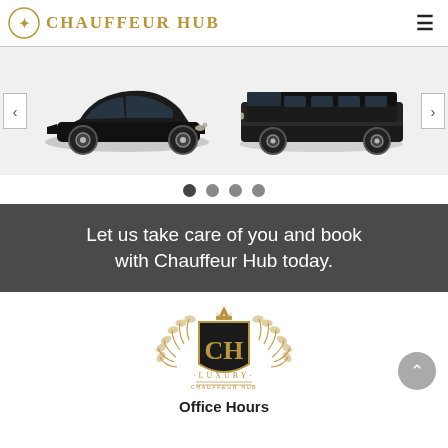CHAUFFEUR HUB
[Figure (photo): Carousel showing two black luxury vehicles: a Mercedes-Benz sedan on the left and a Mercedes-Benz V-Class van on the right, with left and right navigation arrows.]
[Figure (infographic): Four pagination dots below the carousel, first dot darker indicating active slide.]
Let us take care of you and book with Chauffeur Hub today.
[Figure (logo): Chauffeur Hub luxury crest logo: a shield with 'CH' monogram, crown on top, laurel branches on sides, and 'LUXURY CHAUFFEUR HUB' text below.]
Office Hours